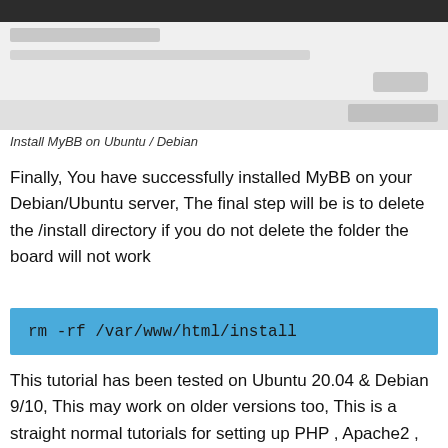[Figure (screenshot): Browser screenshot showing a web page with dark navigation bar, address bar, URL bar, a button, and a content bar with button on the right]
Install MyBB on Ubuntu / Debian
Finally, You have successfully installed MyBB on your Debian/Ubuntu server, The final step will be is to delete the /install directory if you do not delete the folder the board will not work
rm -rf /var/www/html/install
This tutorial has been tested on Ubuntu 20.04 & Debian 9/10, This may work on older versions too, This is a straight normal tutorials for setting up PHP , Apache2 , MariaDB (MySQL) Server easily and easily installing the forum.